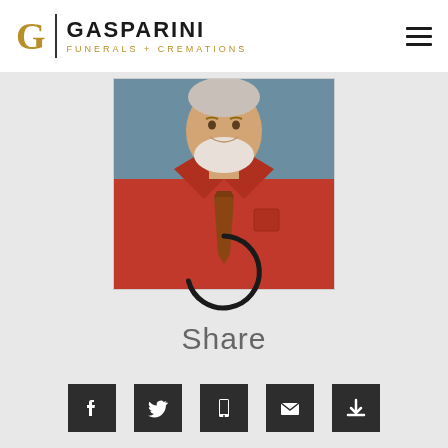Gasparini Funerals + Cremations
[Figure (photo): Photograph of an older man with white beard wearing a red shirt and brown tie, cropped from chest up, displayed as a memorial photo on a funeral home website]
[Figure (other): Loading spinner circle arc in dark color, partially complete, indicating page loading in progress]
Share
[Figure (infographic): Row of five social sharing icons: Facebook, Twitter, mobile/phone, email/envelope, and a download/print icon, all in dark square buttons]